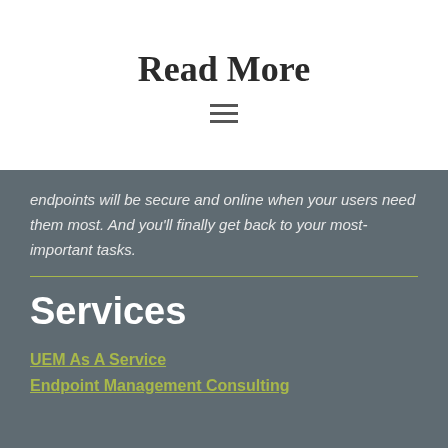Read More
[Figure (other): Hamburger menu icon with three horizontal lines]
endpoints will be secure and online when your users need them most. And you'll finally get back to your most-important tasks.
Services
UEM As A Service
Endpoint Management Consulting